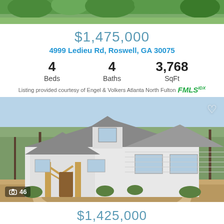[Figure (photo): Top cropped photo of green trees/vegetation, partially visible at top of page]
$1,475,000
4999 Ledieu Rd, Roswell, GA 30075
4 Beds   4 Baths   3,768 SqFt
Listing provided courtesy of Engel & Volkers Atlanta North Fulton FMLS IDX
[Figure (photo): Exterior photo of a large white modern farmhouse-style home with wood-accented front porch, dormers, surrounded by pine trees, circular driveway. Camera icon with 46 photos count shown at bottom left. Heart/favorite icon at top right.]
$1,425,000